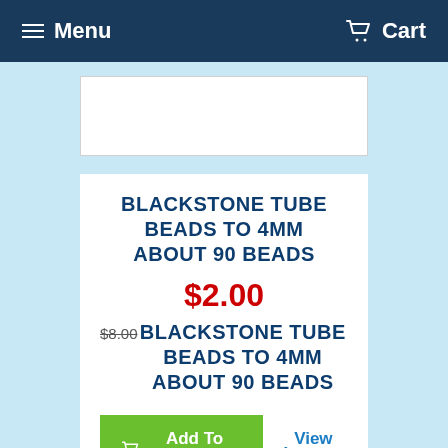Menu  Cart
[Figure (photo): Product image placeholder (white rectangle)]
BLACKSTONE TUBE BEADS TO 4MM ABOUT 90 BEADS
$2.00
$8.00 (strikethrough)
BLACKSTONE TUBE BEADS TO 4MM ABOUT 90 BEADS
Add To Cart
View details